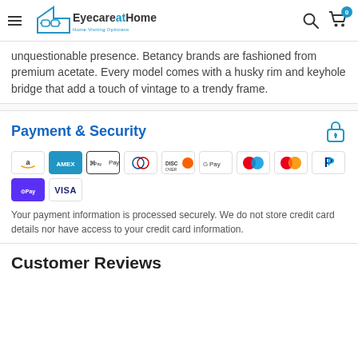EyecareAtHome – Home Visiting Opticians
unquestionable presence. Betancy brands are fashioned from premium acetate. Every model comes with a husky rim and keyhole bridge that add a touch of vintage to a trendy frame.
Payment & Security
[Figure (other): Payment method logos: Amazon Pay, American Express, Apple Pay, Diners Club, Discover, Google Pay, Mastercard (Maestro), Mastercard, PayPal, Shop Pay, Visa]
Your payment information is processed securely. We do not store credit card details nor have access to your credit card information.
Customer Reviews